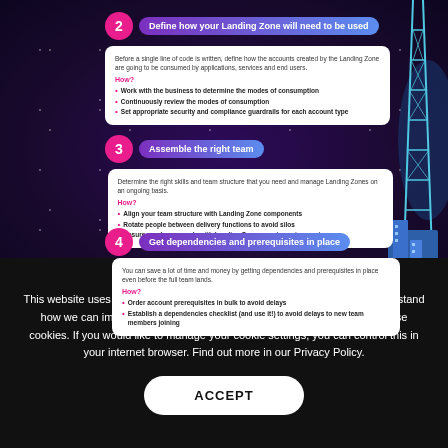[Figure (infographic): Infographic on dark purple starry background showing steps 2, 3, and 4 for Landing Zone setup, with a communication tower illustration on the right side.]
2 Define how your Landing Zone will need to be used
Before a single line of code is written, define how the accounts created by the Landing Zone are going to be consumed by applications, services and end users.
How?
Work with the business to determine the modes of consumption
Continuously review the modes of consumption
Set appropriate security and compliance guardrails for each account type
3 Assemble the right team
Determine the right skills and team structure that you need and manage Landing Zones on an ongoing basis.
How?
Align your team structure with Landing Zone components
Rotate people between delivery functions to avoid silos
Ensure you have people with Landing Zone experience in your team
4 Get dependencies and prerequisites in place
You can save a lot of time and money by getting dependencies and prerequisites in place even before the full team lands.
How?
Order account prerequisites in bulk to avoid delays
Establish a dependencies checklist (and use it!) to avoid delays to new team members joining
This website uses cookies to maximize your experience and help us to understand how we can improve it. By clicking 'Accept', you consent to the use of these cookies. If you would like to manage your cookie settings, you can control this in your internet browser. Find out more in our Privacy Policy.
ACCEPT